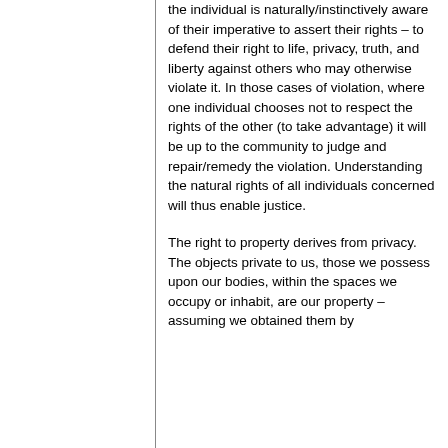the individual is naturally/instinctively aware of their imperative to assert their rights – to defend their right to life, privacy, truth, and liberty against others who may otherwise violate it. In those cases of violation, where one individual chooses not to respect the rights of the other (to take advantage) it will be up to the community to judge and repair/remedy the violation. Understanding the natural rights of all individuals concerned will thus enable justice.
The right to property derives from privacy. The objects private to us, those we possess upon our bodies, within the spaces we occupy or inhabit, are our property – assuming we obtained them by